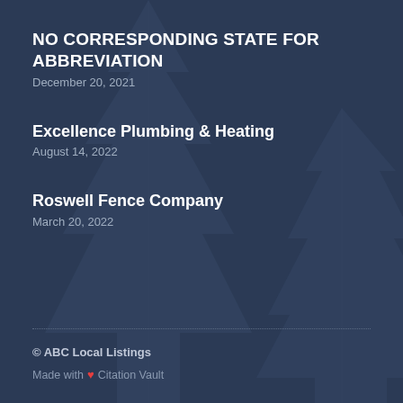NO CORRESPONDING STATE FOR ABBREVIATION
December 20, 2021
Excellence Plumbing & Heating
August 14, 2022
Roswell Fence Company
March 20, 2022
© ABC Local Listings
Made with ❤ Citation Vault